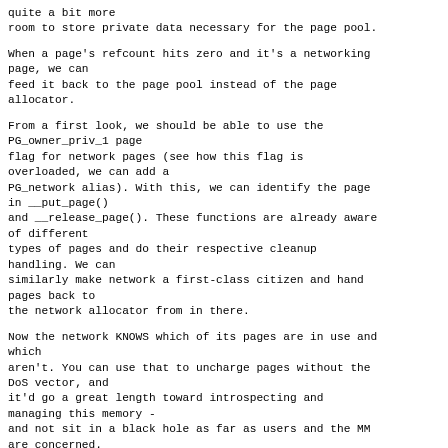quite a bit more
room to store private data necessary for the page pool.
When a page's refcount hits zero and it's a networking
page, we can
feed it back to the page pool instead of the page
allocator.
From a first look, we should be able to use the
PG_owner_priv_1 page
flag for network pages (see how this flag is
overloaded, we can add a
PG_network alias). With this, we can identify the page
in __put_page()
and __release_page(). These functions are already aware
of different
types of pages and do their respective cleanup
handling. We can
similarly make network a first-class citizen and hand
pages back to
the network allocator from in there.
Now the network KNOWS which of its pages are in use and
which
aren't. You can use that to uncharge pages without the
DoS vector, and
it'd go a great length toward introspecting and
managing this memory -
and not sit in a black hole as far as users and the MM
are concerned.